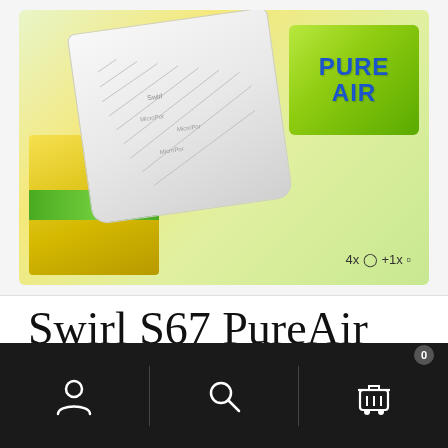[Figure (photo): Product photo of Swirl S67 PureAir vacuum cleaner bags box. Green and yellow packaging with white vacuum bags visible. 'PURE AIR' text in blue on green background. Shows '4x + 1x' content indicators.]
Swirl S67 PureAir Vacuum cleaner bag 4 pc(s)
[Figure (other): Bottom navigation bar with user/account icon, search icon, and shopping cart icon with badge showing 0]